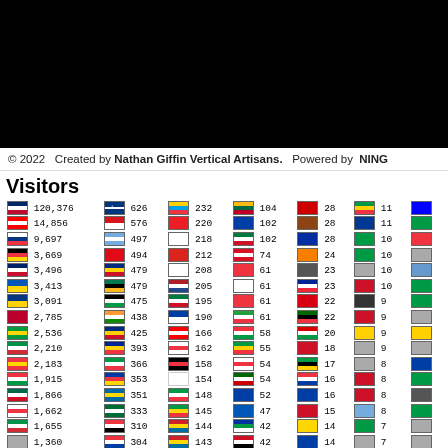[Figure (other): Black header banner area at top of page]
© 2022   Created by Nathan Giffin Vertical Artisans.   Powered by  NING
Visitors
| Flag | Count | Flag | Count | Flag | Count | Flag | Count | Flag | Count | Flag | Count | Flag | Count |
| --- | --- | --- | --- | --- | --- | --- | --- | --- | --- | --- | --- | --- | --- |
| US | 120,376 | FI | 626 | EC | 232 | LT | 104 | -- | 28 | -- | 11 | -- |  |
| CA | 14,856 | CZ | 576 | CN | 220 | -- | 102 | -- | 28 | NP | 11 | -- |  |
| RU | 9,697 | AR | 497 | KR | 218 | KW | 102 | KH | 28 | -- | 10 | -- |  |
| DE | 3,669 | TR | 494 | VN | 212 | PE | 74 | CI | 24 | -- | 10 | -- |  |
| GB | 3,496 | RO | 479 | SG | 208 | -- | 61 | -- | 23 | -- | 10 | -- |  |
| AU | 3,413 | -- | 479 | NL | 205 | GE | 61 | FR | 23 | CU | 10 | -- |  |
| UA | 3,091 | ZA | 475 | JO | 195 | TN | 61 | AM | 22 | -- | 9 | -- |  |
| JP | 2,785 | IN | 438 | -- | 190 | IR | 61 | JM | 22 | -- | 9 | -- |  |
| BR | 2,536 | RO | 425 | HR | 166 | LB | 58 | OM | 20 | -- | 9 | -- |  |
| IT | 2,210 | BA | 393 | PL | 162 | TG | 55 | BH | 18 | -- | 9 | -- |  |
| ES | 2,183 | NG | 366 | EG | 158 | -- | 54 | TZ | 17 | -- | 8 | -- |  |
| -- | 1,915 | PH | 353 | -- | 154 | KE | 54 | -- | 16 | -- | 8 | -- |  |
| MX | 1,866 | SE | 351 | NG | 148 | GR | 52 | -- | 16 | -- | 8 | -- |  |
| PL | 1,662 | SA | 333 | SN | 145 | AZ | 47 | -- | 15 | -- | 8 | -- |  |
| IT | 1,655 | AE | 310 | MK | 144 | UY | 42 | -- | 14 | -- | 7 | -- |  |
| -- | 1,360 | PR | 304 | MK | 143 | SY | 42 | -- | 14 | -- | 7 | -- |  |
| -- | 1,157 | AT | 293 | IL | 141 | AU | 40 | -- | 13 | -- | 6 | -- |  |
| -- | 1,005 | -- | 276 | GH | 141 | JO | 37 | NA | 13 | -- | 6 | -- |  |
| -- | 994 | TW | 275 | -- | 137 | -- | 37 | IS | 13 | -- | 6 | -- |  |
| -- | 858 | -- | 269 | -- | 131 | -- | 37 | -- | 12 | -- | 6 | -- |  |